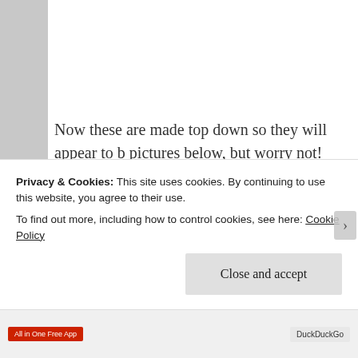Now these are made top down so they will appear to b pictures below, but worry not! Once we done with the will be ready to move in!
Materials
[Figure (photo): Partial image visible in the upper right, appears to show a light blue craft or material item]
Privacy & Cookies: This site uses cookies. By continuing to use this website, you agree to their use.
To find out more, including how to control cookies, see here: Cookie Policy
Close and accept